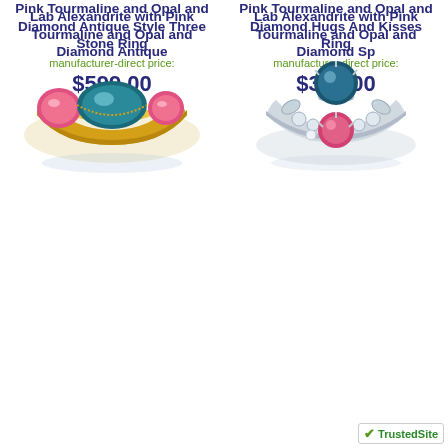Pink Tourmaline and Opal and Diamond Antique Style Three Stone Ring
manufacturer-direct price:
$599.00
Pink Tourmaline and Opal and Diamond Hugs And Kisses Ring
manufacturer-direct price:
$399.00
[Figure (photo): Gold ring with pink tourmaline and teal center stone in antique milgrain setting]
[Figure (photo): Silver floral ring with teal and pink tourmaline stones in hugs and kisses design]
Lab Alexandrite with Pink Tourmaline and Opal and Diamond Antique
Lab Alexandrite with Pink Tourmaline and Opal and Diamond Sp